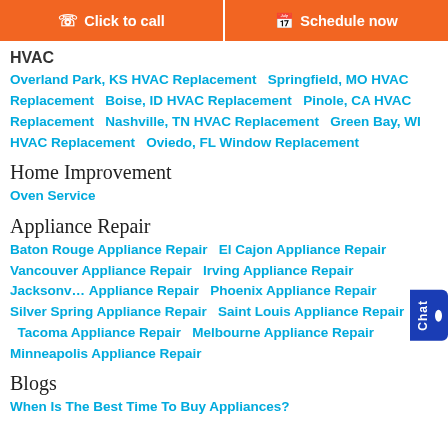Click to call   Schedule now
HVAC
Overland Park, KS HVAC Replacement   Springfield, MO HVAC Replacement   Boise, ID HVAC Replacement   Pinole, CA HVAC Replacement   Nashville, TN HVAC Replacement   Green Bay, WI HVAC Replacement   Oviedo, FL Window Replacement
Home Improvement
Oven Service
Appliance Repair
Baton Rouge Appliance Repair   El Cajon Appliance Repair   Vancouver Appliance Repair   Irving Appliance Repair   Jacksonville Appliance Repair   Phoenix Appliance Repair   Silver Spring Appliance Repair   Saint Louis Appliance Repair   Tacoma Appliance Repair   Melbourne Appliance Repair   Minneapolis Appliance Repair
Blogs
When Is The Best Time To Buy Appliances?